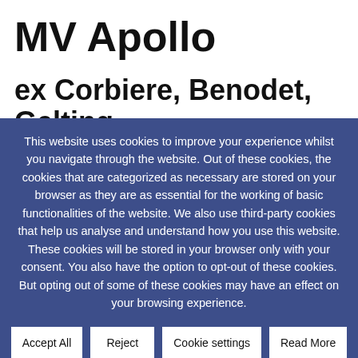MV Apollo
ex Corbiere, Benodet, Gelting
This website uses cookies to improve your experience whilst you navigate through the website. Out of these cookies, the cookies that are categorized as necessary are stored on your browser as they are as essential for the working of basic functionalities of the website. We also use third-party cookies that help us analyse and understand how you use this website. These cookies will be stored in your browser only with your consent. You also have the option to opt-out of these cookies. But opting out of some of these cookies may have an effect on your browsing experience.
Accept All
Reject
Cookie settings
Read More